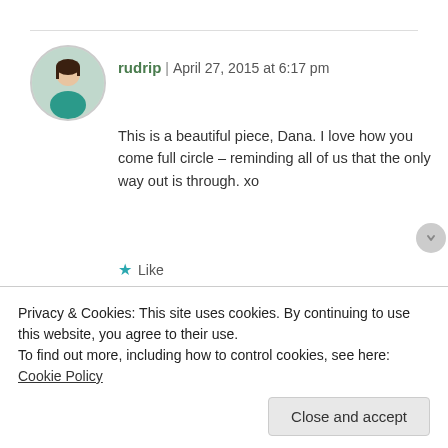rudrip | April 27, 2015 at 6:17 pm
This is a beautiful piece, Dana. I love how you come full circle – reminding all of us that the only way out is through. xo
★ Like
Reply
Privacy & Cookies: This site uses cookies. By continuing to use this website, you agree to their use.
To find out more, including how to control cookies, see here: Cookie Policy
Close and accept